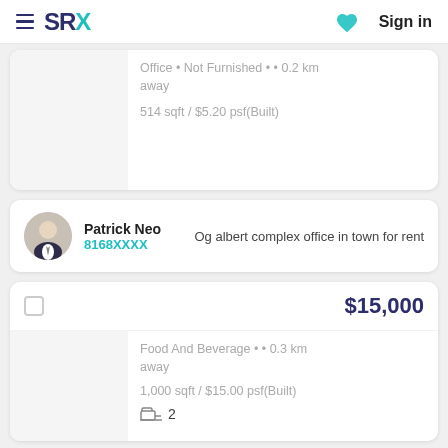SRX — Sign in
Office • Not Furnished • • 0.2 km away
514 sqft / $5.20 psf(Built)
Patrick Neo
8168XXXX — Og albert complex office in town for rent
$15,000
Food And Beverage • • 0.3 km away
1,000 sqft / $15.00 psf(Built)
2